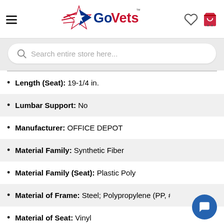[Figure (logo): GoVets logo with red/blue star and stripes, hamburger menu icon, heart icon, and red shopping cart icon]
[Figure (screenshot): Search bar with magnifying glass icon and placeholder text 'Search entire store here...']
Length (Seat): 19-1/4 in.
Lumbar Support: No
Manufacturer: OFFICE DEPOT
Material Family: Synthetic Fiber
Material Family (Seat): Plastic Poly
Material of Frame: Steel; Polypropylene (PP, #5); N
Material of Seat: Vinyl